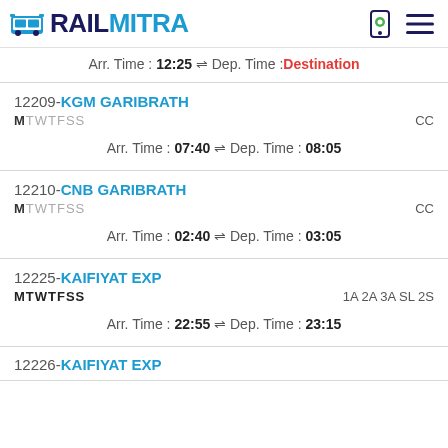RAILMITRA
Arr. Time : 12:25 ⇌ Dep. Time : Destination
12209-KGM GARIBRATH
MTWTFSS CC
Arr. Time : 07:40 ⇌ Dep. Time : 08:05
12210-CNB GARIBRATH
MTWTFSS CC
Arr. Time : 02:40 ⇌ Dep. Time : 03:05
12225-KAIFIYAT EXP
MTWTFSS 1A 2A 3A SL 2S
Arr. Time : 22:55 ⇌ Dep. Time : 23:15
12226-KAIFIYAT EXP (partial)